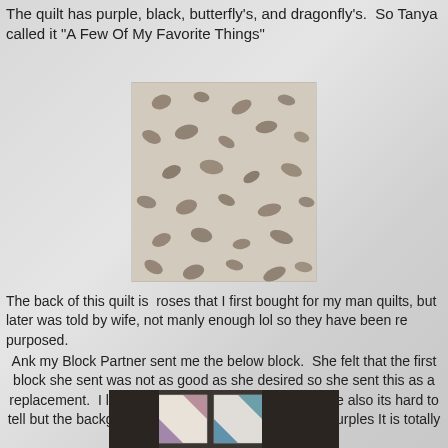The quilt has purple, black, butterfly's, and dragonfly's.  So Tanya called it "A Few Of My Favorite Things"
[Figure (photo): Close-up photo of a fabric with a beige/cream background and scattered dark brown/grey paisley or organic shapes printed on it — the quilt fabric.]
The back of this quilt is  roses that I first bought for my man quilts, but later was told by wife, not manly enough lol so they have been re purposed.
Ank my Block Partner sent me the below block.  She felt that the first block she sent was not as good as she desired so she sent this as a replacement.  I loved her first block and I love this one also its hard to tell but the background is a aqua or light green with purples It is totally beautiful
[Figure (photo): Partial photo of a quilt block showing pastel/light colored fabric pieces with purple and teal/aqua triangle shapes on what appears to be a table or surface.]